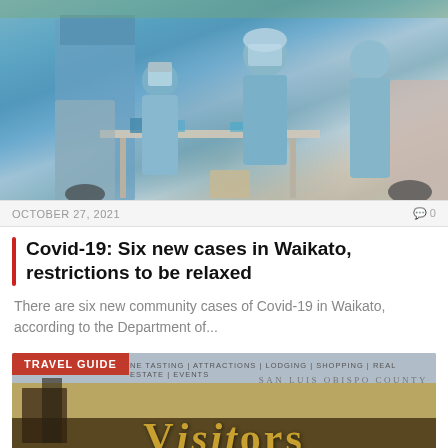[Figure (photo): Healthcare workers in PPE performing COVID testing at a drive-through testing site, with blue tarp shelter, testing table, and cars visible]
OCTOBER 27, 2021   0
Covid-19: Six new cases in Waikato, restrictions to be relaxed
There are six new community cases of Covid-19 in Waikato, according to the Department of...
[Figure (photo): San Luis Obispo County Visitors travel guide cover with large golden VISITORS text, wine tasting and tourism categories listed]